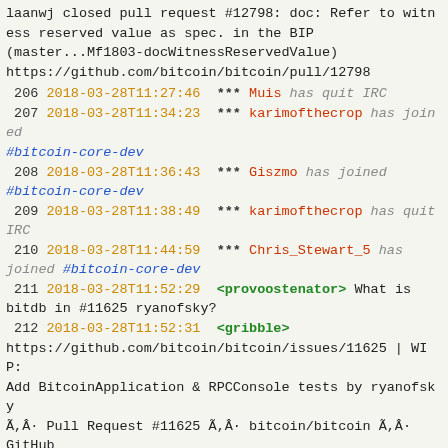laanwj closed pull request #12798: doc: Refer to witness reserved value as spec. in the BIP (master...Mf1803-docWitnessReservedValue) https://github.com/bitcoin/bitcoin/pull/12798
206 2018-03-28T11:27:46 *** Muis has quit IRC
207 2018-03-28T11:34:23 *** karimofthecrop has joined #bitcoin-core-dev
208 2018-03-28T11:36:43 *** Giszmo has joined #bitcoin-core-dev
209 2018-03-28T11:38:49 *** karimofthecrop has quit IRC
210 2018-03-28T11:44:59 *** Chris_Stewart_5 has joined #bitcoin-core-dev
211 2018-03-28T11:52:29 <provoostenator> What is bitdb in #11625 ryanofsky?
212 2018-03-28T11:52:31 <gribble> https://github.com/bitcoin/bitcoin/issues/11625 | WIP: Add BitcoinApplication & RPCConsole tests by ryanofsky Ã,Â· Pull Request #11625 Ã,Â· bitcoin/bitcoin Ã,Â· GitHub
213 2018-03-28T12:11:33 *** promag has joined #bitcoin-core-dev
214 2018-03-28T12:22:06 *** zarez has quit IRC
215 2018-03-28T12:23:32 *** promag has quit IRC
216 2018-03-28T12:26:00 *** promag has joined #bitcoin-core-dev
217 2018-03-28T12:29:46 *** zarez has joined #bitcoin-core-dev